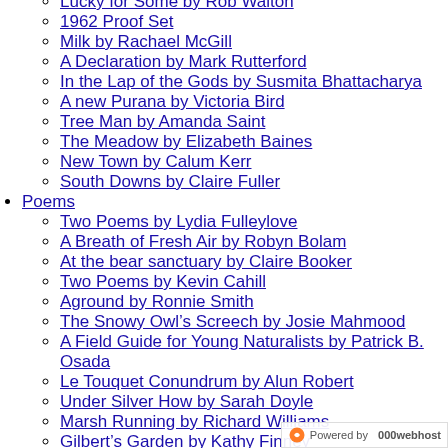Lucky for Some by Rob Walton
1962 Proof Set
Milk by Rachael McGill
A Declaration by Mark Rutterford
In the Lap of the Gods by Susmita Bhattacharya
A new Purana by Victoria Bird
Tree Man by Amanda Saint
The Meadow by Elizabeth Baines
New Town by Calum Kerr
South Downs by Claire Fuller
Poems
Two Poems by Lydia Fulleylove
A Breath of Fresh Air by Robyn Bolam
At the bear sanctuary by Claire Booker
Two Poems by Kevin Cahill
Aground by Ronnie Smith
The Snowy Owl’s Screech by Josie Mahmood
A Field Guide for Young Naturalists by Patrick B. Osada
Le Touquet Conundrum by Alun Robert
Under Silver How by Sarah Doyle
Marsh Running by Richard Williams
Gilbert’s Garden by Kathy Finney
Swallowing the Toad by Matthew Paul
Lockdown by Sue Mackrell
Bowing to the Water by Maggie Mackay